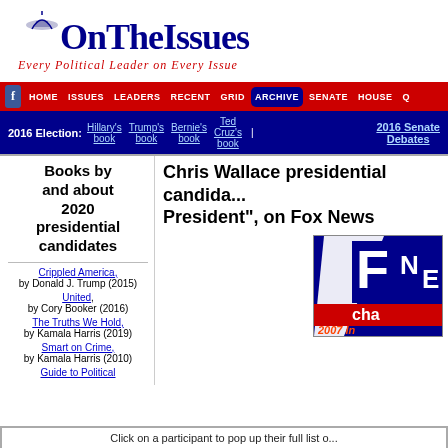[Figure (logo): OnTheIssues logo with capitol dome icon, blue bold text 'OnTheIssues', red italic subtitle 'Every Political Leader on Every Issue']
HOME | ISSUES | LEADERS | RECENT | GRID | ARCHIVE | SENATE | HOUSE | Q
2016 Election: Hillary's book | Trump's book | Bernie's book | Ted Cruz's book | 2016 Senate Debates
Books by and about 2020 presidential candidates
Crippled America, by Donald J. Trump (2015)
United, by Cory Booker (2016)
The Truths We Hold, by Kamala Harris (2019)
Smart on Crime, by Kamala Harris (2010)
Guide to Political
Chris Wallace presidential candida... President", on Fox News
[Figure (screenshot): Fox News channel logo/screenshot showing 'cha' text and '2007 In' text in red and white on blue background]
Click on a participant to pop up their full list o...